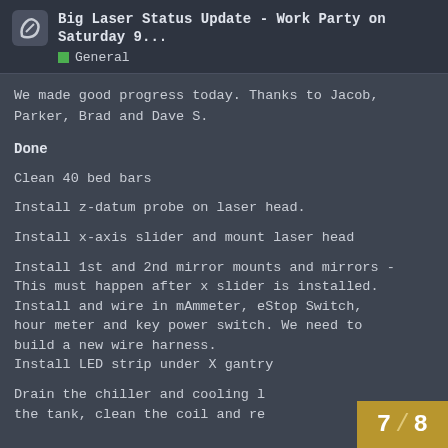Big Laser Status Update - Work Party on Saturday 9... General
We made good progress today. Thanks to Jacob, Parker, Brad and Dave S.
Done
Clean 40 bed bars
Install z-datum probe on laser head.
Install x-axis slider and mount laser head
Install 1st and 2nd mirror mounts and mirrors - This must happen after x slider is installed.
Install and wire in mAmmeter, eStop Switch, hour meter and key power switch. We need to build a new wire harness.
Install LED strip under X gantry
Drain the chiller and cooling l... the tank, clean the coil and re...
7 / 8